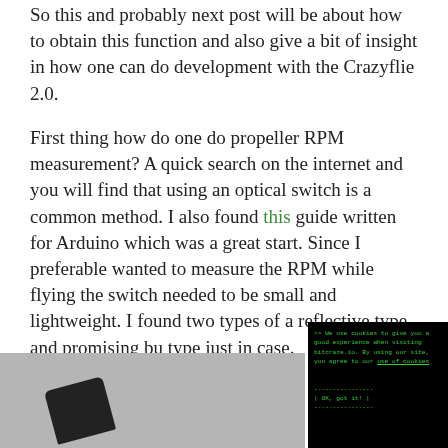So this and probably next post will be about how to obtain this function and also give a bit of insight in how one can do development with the Crazyflie 2.0.
First thing how do one do propeller RPM measurement? A quick search on the internet and you will find that using an optical switch is a common method. I also found this guide written for Arduino which was a great start. Since I preferable wanted to measure the RPM while flying the switch needed to be small and lightweight. I found two types a reflective type. and promising bu type just in case.
[Show as slidesh
[Figure (photo): Photo of a small electronic device/component, partially visible at bottom of page]
[Figure (screenshot): Cookie consent dialog overlay with black background and green monospace text reading: >> We use cookies to give you a good experience when visiting bitcraze.io. By using our site, you agree to our use of cookies

----------------
| OK, got it! |
----------------]